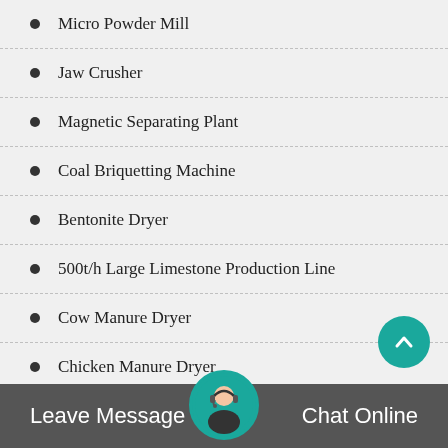Micro Powder Mill
Jaw Crusher
Magnetic Separating Plant
Coal Briquetting Machine
Bentonite Dryer
500t/h Large Limestone Production Line
Cow Manure Dryer
Chicken Manure Dryer
Leave Message   Chat Online